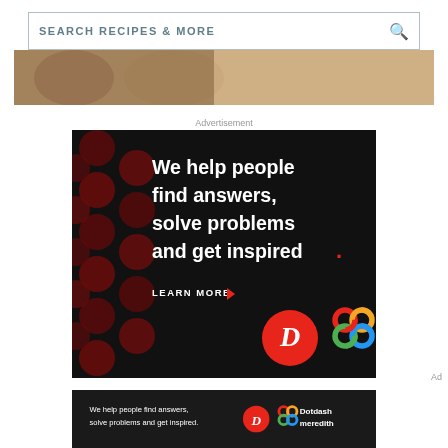[Figure (screenshot): Search bar with text SEARCH RECIPES & MORE and a search icon on the right]
[Figure (photo): Partial image strip showing food or people at top of page]
Advertisement
[Figure (infographic): Dotdash Meredith advertisement on black background with dark red polka dots. White bold text reads: We help people find answers, solve problems and get inspired. Red period at end. LEARN MORE button with red arrow. Dotdash D logo in red circle and Meredith colorful flower/knot logo at bottom right.]
Ad
[Figure (infographic): Bottom banner ad on dark background: We help people find answers, solve problems and get inspired. Dotdash D logo and colorful Meredith logo, text Dotdash meredith on right side.]